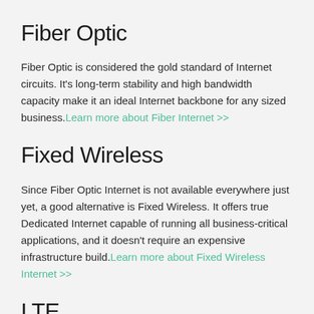Fiber Optic
Fiber Optic is considered the gold standard of Internet circuits. It's long-term stability and high bandwidth capacity make it an ideal Internet backbone for any sized business.Learn more about Fiber Internet >>
Fixed Wireless
Since Fiber Optic Internet is not available everywhere just yet, a good alternative is Fixed Wireless. It offers true Dedicated Internet capable of running all business-critical applications, and it doesn't require an expensive infrastructure build.Learn more about Fixed Wireless Internet >>
LTE
LTE...